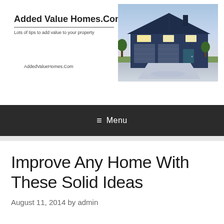Added Value Homes.Com
Lots of tips to add value to your property
AddedValueHomes.Com
[Figure (photo): Photo of a suburban house with two-car garage, illuminated at dusk with a blue sky background]
≡ Menu
Improve Any Home With These Solid Ideas
August 11, 2014 by admin